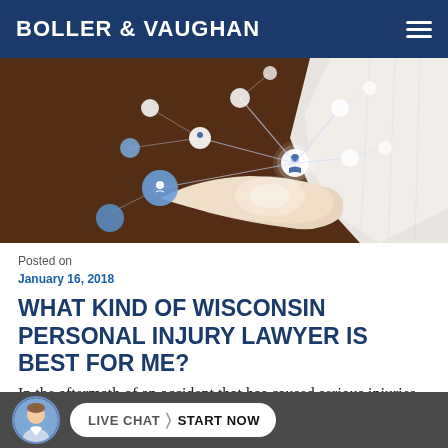BOLLER & VAUGHAN
[Figure (photo): Person in white shirt holding out hand with glowing network/social graph nodes floating above palm against dark brown background]
Posted on
January 16, 2018
WHAT KIND OF WISCONSIN PERSONAL INJURY LAWYER IS BEST FOR ME?
In the aftermath of an accident that has caused serious injuries to you or a loved one, the road
[Figure (other): Live chat widget bar at bottom: avatar of young man, button with LIVE CHAT > START NOW text on white pill-shaped button on dark grey background]